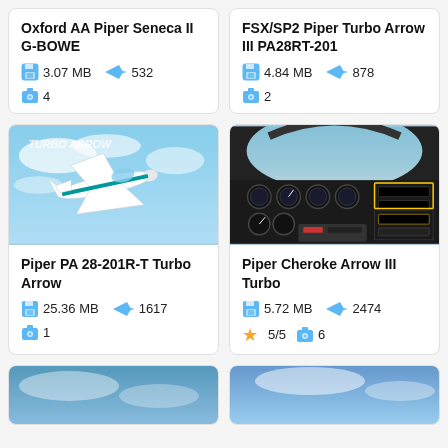Oxford AA Piper Seneca II G-BOWE
3.07 MB   532   4
FSX/SP2 Piper Turbo Arrow III PA28RT-201
4.84 MB   878   2
[Figure (photo): Flight simulator image of a white and teal Piper Turbo Arrow aircraft in flight with blue sky background, text 'TURBO ARROW' overlaid]
Piper PA 28-201R-T Turbo Arrow
25.36 MB   1617   1
[Figure (photo): Flight simulator cockpit view of a Piper Cherokee Arrow III Turbo showing instrument panel with many gauges against blue sky]
Piper Cheroke Arrow III Turbo
5.72 MB   2474   5/5   6
[Figure (photo): Partial top of a flight simulator image, blue sky visible]
[Figure (photo): Partial top of another flight simulator image, blue sky visible]